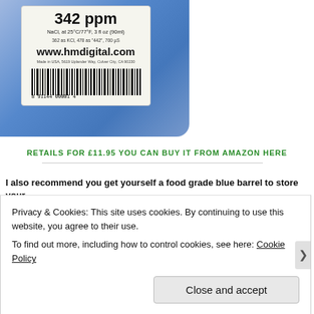[Figure (photo): Photo of a blue plastic bottle with a label showing '342 ppm NaCl, at 25°C/77°F, 3 fl oz (90ml)', '362 as KCl, 478 as "442", 700 µS', 'www.hmdigital.com', barcode '8 91144 00001 4']
RETAILS FOR £11.95 YOU CAN BUY IT FROM AMAZON HERE
I also recommend you get yourself a food grade blue barrel to store your
Privacy & Cookies: This site uses cookies. By continuing to use this website, you agree to their use.
To find out more, including how to control cookies, see here: Cookie Policy
Close and accept